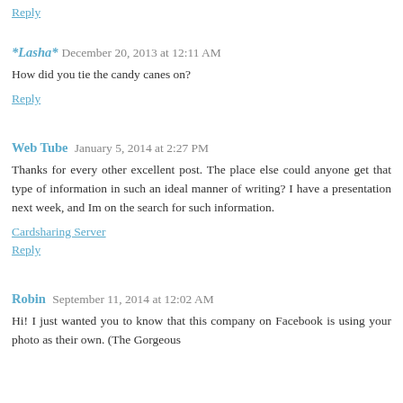Reply
*Lasha*  December 20, 2013 at 12:11 AM
How did you tie the candy canes on?
Reply
Web Tube  January 5, 2014 at 2:27 PM
Thanks for every other excellent post. The place else could anyone get that type of information in such an ideal manner of writing? I have a presentation next week, and Im on the search for such information.
Cardsharing Server
Reply
Robin  September 11, 2014 at 12:02 AM
Hi! I just wanted you to know that this company on Facebook is using your photo as their own. (The Gorgeous